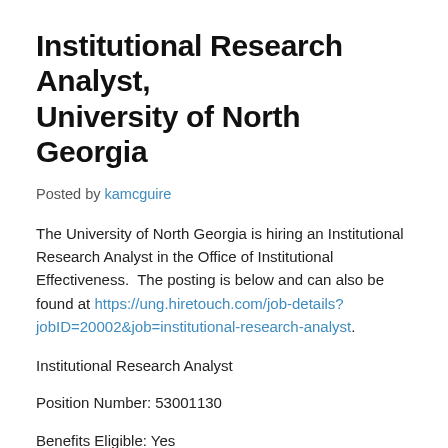Institutional Research Analyst, University of North Georgia
Posted by kamcguire
The University of North Georgia is hiring an Institutional Research Analyst in the Office of Institutional Effectiveness.  The posting is below and can also be found at https://ung.hiretouch.com/job-details?jobID=20002&job=institutional-research-analyst.
Institutional Research Analyst
Position Number: 53001130
Benefits Eligible: Yes
Campus Location: Dahlonega